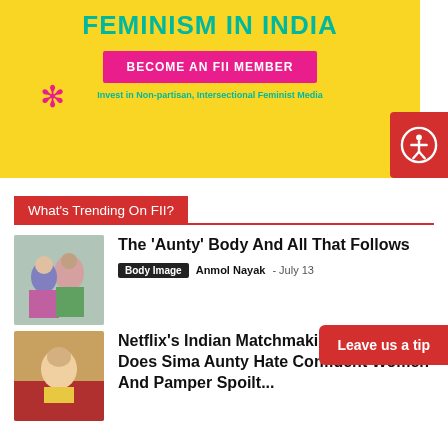[Figure (illustration): Yellow banner with teal text reading FEMINISM IN INDIA, a pink button BECOME AN FII MEMBER, teal subtext, and a pink flower decoration]
FEMINISM IN INDIA
BECOME AN FII MEMBER
Invest in Non-partisan, Intersectional Feminist Media
What's Trending On FII?
The ‘Aunty’ Body And All That Follows
Body Image  Anmol Nayak  –  July 13
Netflix’s Indian Matchmaking 2: Why Does Sima Aunty Hate Confident Women And Pamper Spoilt...